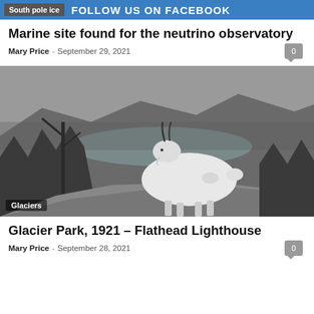South pole ice  Follow us on Facebook
Marine site found for the neutrino observatory
Mary Price - September 29, 2021
[Figure (photo): Black and white photo of a mountain goat standing on rocks with evergreen trees and a mountain lake in the background. Labeled 'Glaciers'.]
Glacier Park, 1921 – Flathead Lighthouse
Mary Price - September 28, 2021